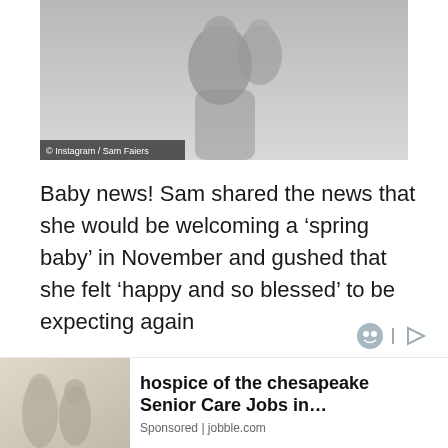[Figure (photo): Black and white photo of a person holding a baby/small child, with watermark '© Instagram / Sam Faiers' in bottom left corner]
© Instagram / Sam Faiers
Baby news! Sam shared the news that she would be welcoming a 'spring baby' in November and gushed that she felt 'happy and so blessed' to be expecting again
[Figure (photo): Advertisement image showing two people in a care setting, with text 'hospice of the chesapeake Senior Care Jobs in… Sponsored | jobble.com']